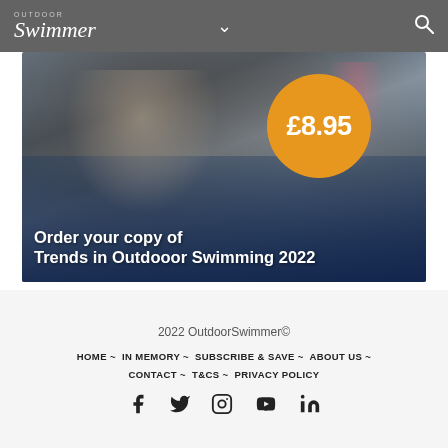Outdoor Swimmer
[Figure (photo): Advertisement banner for 'Trends in Outdoor Swimming 2022' showing two swimmers against a dark rocky background, with an orange circle showing the price £8.95 and bold white text reading 'Order your copy of Trends in Outdooor Swimming 2022']
2022 OutdoorSwimmer© HOME ~ IN MEMORY ~ SUBSCRIBE & SAVE ~ ABOUT US ~ CONTACT ~ T&Cs ~ PRIVACY POLICY
Social media icons: Facebook, Twitter, Instagram, YouTube, LinkedIn